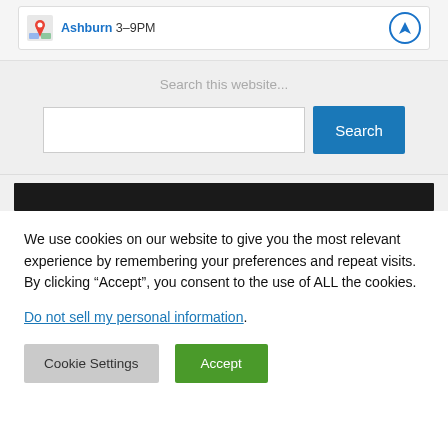[Figure (screenshot): Location card showing map icon, Ashburn 3-9PM text, and navigation icon button]
Search this website...
[Figure (screenshot): Search input box and Search button]
[Figure (screenshot): Dark black banner bar]
We use cookies on our website to give you the most relevant experience by remembering your preferences and repeat visits. By clicking “Accept”, you consent to the use of ALL the cookies.
Do not sell my personal information.
Cookie Settings
Accept